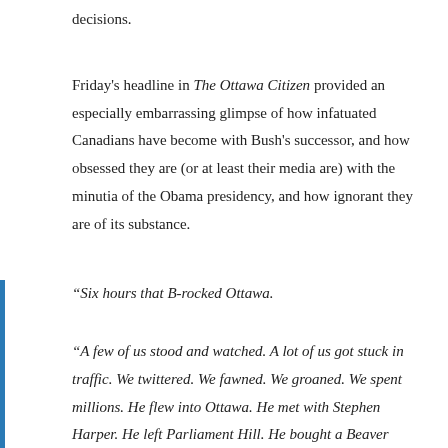decisions.
Friday's headline in The Ottawa Citizen provided an especially embarrassing glimpse of how infatuated Canadians have become with Bush's successor, and how obsessed they are (or at least their media are) with the minutia of the Obama presidency, and how ignorant they are of its substance.
“Six hours that B-rocked Ottawa.
“A few of us stood and watched. A lot of us got stuck in traffic. We twittered. We fawned. We groaned. We spent millions. He flew into Ottawa. He met with Stephen Harper. He left Parliament Hill. He bought a Beaver Tail.”